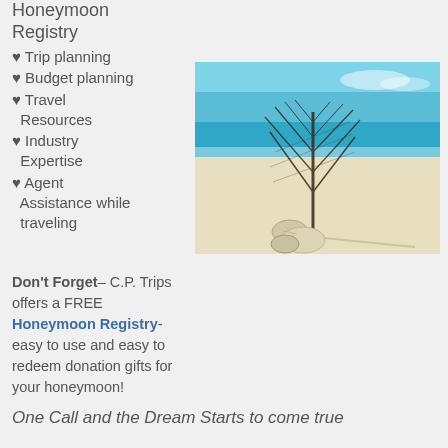Honeymoon Registry
♥ Trip planning
♥ Budget planning
♥ Travel Resources
♥ Industry Expertise
♥ Agent Assistance while traveling
[Figure (photo): A tropical beach scene with white sand, turquoise ocean water, a dark coral sea fan, and shells in the foreground.]
Don't Forget– C.P. Trips offers a FREE Honeymoon Registry- easy to use and easy to redeem donation gifts for your honeymoon!
One Call and the Dream Starts to come true